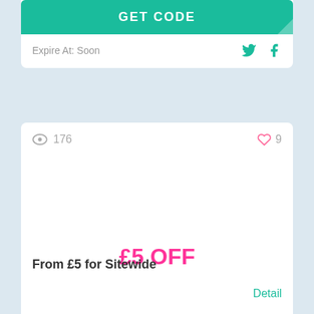GET CODE
Expire At: Soon
176
9
£5 OFF
From £5 for Sitewide
Detail